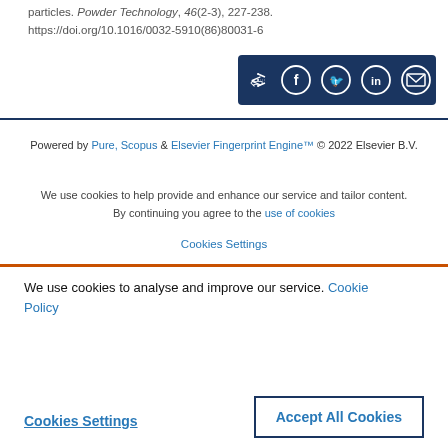particles. Powder Technology, 46(2-3), 227-238. https://doi.org/10.1016/0032-5910(86)80031-6
[Figure (other): Social share button bar with share, Facebook, Twitter, LinkedIn, and email icons on dark navy background]
Powered by Pure, Scopus & Elsevier Fingerprint Engine™ © 2022 Elsevier B.V.
We use cookies to help provide and enhance our service and tailor content. By continuing you agree to the use of cookies
Cookies Settings
We use cookies to analyse and improve our service. Cookie Policy
Cookies Settings
Accept All Cookies